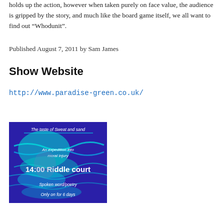holds up the action, however when taken purely on face value, the audience is gripped by the story, and much like the board game itself, we all want to find out “Whodunit”.
Published August 7, 2011 by Sam James
Show Website
http://www.paradise-green.co.uk/
[Figure (illustration): Advertisement poster with blue/purple background and cyan wave-like patterns. Text reads: 'The taste of Sweat and sand', 'An expedition into moral injury', '14:00 Riddle court', 'Spoken word/poetry', 'Only on for 6 days']